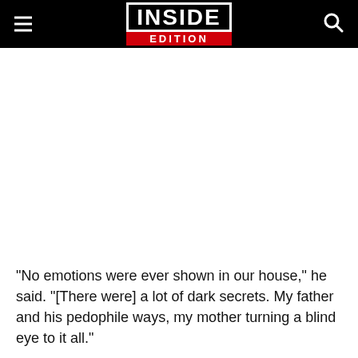INSIDE EDITION
"No emotions were ever shown in our house," he said. "[There were] a lot of dark secrets. My father and his pedophile ways, my mother turning a blind eye to it all."